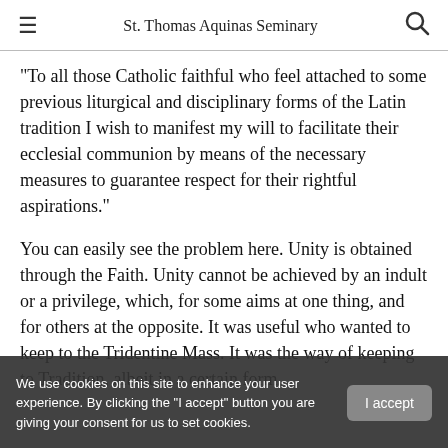St. Thomas Aquinas Seminary
“To all those Catholic faithful who feel attached to some previous liturgical and disciplinary forms of the Latin tradition I wish to manifest my will to facilitate their ecclesial communion by means of the necessary measures to guarantee respect for their rightful aspirations.”
You can easily see the problem here. Unity is obtained through the Faith. Unity cannot be achieved by an indult or a privilege, which, for some aims at one thing, and for others at the opposite. It was useful who wanted to keep to the Tridentine Mass. It was the way of keeping to Tradition, albeit in a certain form.
We use cookies on this site to enhance your user experience. By clicking the “I accept” button you are giving your consent for us to set cookies.